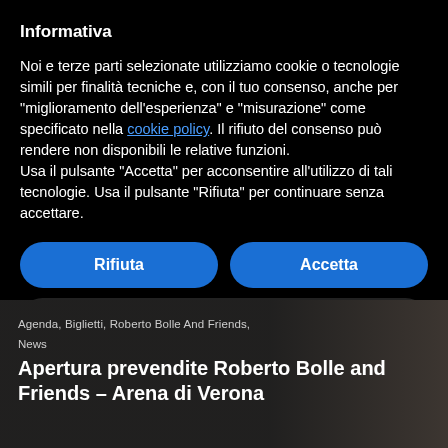Informativa
Noi e terze parti selezionate utilizziamo cookie o tecnologie simili per finalità tecniche e, con il tuo consenso, anche per “miglioramento dell’esperienza” e “misurazione” come specificato nella cookie policy. Il rifiuto del consenso può rendere non disponibili le relative funzioni.
Usa il pulsante “Accetta” per acconsentire all’utilizzo di tali tecnologie. Usa il pulsante “Rifiuta” per continuare senza accettare.
Rifiuta
Accetta
Scopri di più e personalizza
Agenda, Biglietti, Roberto Bolle And Friends,
News
Apertura prevendite Roberto Bolle and Friends – Arena di Verona